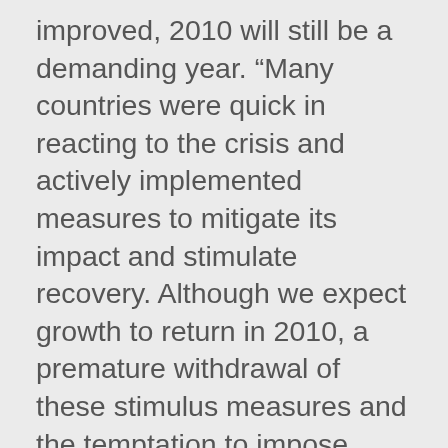improved, 2010 will still be a demanding year. “Many countries were quick in reacting to the crisis and actively implemented measures to mitigate its impact and stimulate recovery. Although we expect growth to return in 2010, a premature withdrawal of these stimulus measures and the temptation to impose extra taxes may jeopardize the pace of rebound in tourism. As highlighted in the UNWTO Roadmap for Recovery, the sector can make a vital contribution to economic recovery, particularly as a primary vehicle for job creation and the transformation to the Green